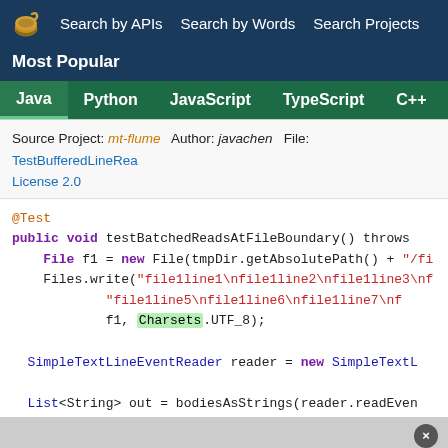Search by APIs  Search by Words  Search Projects
Most Popular
Java  Python  JavaScript  TypeScript  C++  Scala
Source Project: mt-flume  Author: javachen  File: TestBufferedLineRea  License 2.0
@Test
public void testBatchedReadsAtFileBoundary() throws
  File f1 = new File(tmpDir.getAbsolutePath() + "/fi
  Files.write("file1line1\nfile1line2\nfile1line3\nf
          "file1line5\nfile1line6\nfile1line7\nf
          f1, Charsets.UTF_8);

  SimpleTextLineEventReader reader = new SimpleTextL

  List<String> out = bodiesAsStrings(reader.readEven